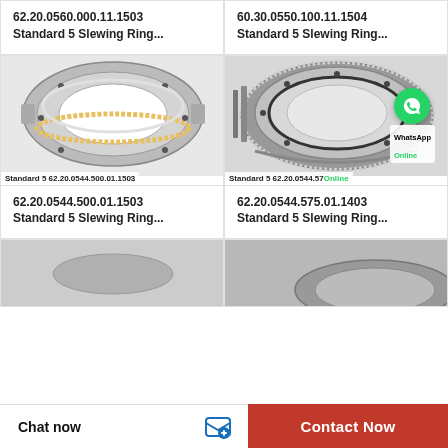62.20.0560.000.11.1503
Standard 5 Slewing Ring...
60.30.0550.100.11.1504
Standard 5 Slewing Ring...
[Figure (photo): Slewing ring bearing product photo - Standard 5 62.20.0544.500.01.1503]
[Figure (photo): Slewing ring bearing with external teeth and WhatsApp Online overlay - Standard 5 62.20.0544.575.01.1403]
62.20.0544.500.01.1503
Standard 5 Slewing Ring...
62.20.0544.575.01.1403
Standard 5 Slewing Ring...
[Figure (photo): Partial slewing ring bearing thumbnail - bottom left]
[Figure (photo): Partial slewing ring bearing thumbnail - bottom right]
Chat now
Contact Now